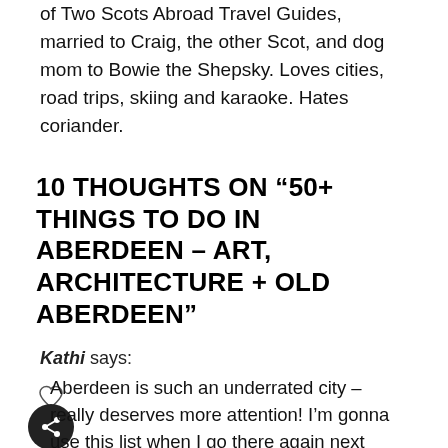of Two Scots Abroad Travel Guides, married to Craig, the other Scot, and dog mom to Bowie the Shepsky. Loves cities, road trips, skiing and karaoke. Hates coriander.
10 THOUGHTS ON “50+ THINGS TO DO IN ABERDEEN – ART, ARCHITECTURE + OLD ABERDEEN”
Kathi says:
Aberdeen is such an underrated city – really deserves more attention! I’m gonna use this list when I go there again next year!!